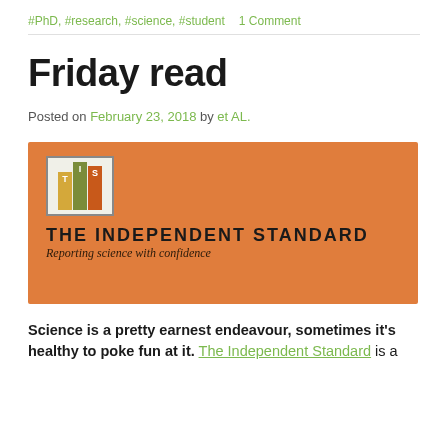#PhD, #research, #science, #student    1 Comment
Friday read
Posted on February 23, 2018 by et AL.
[Figure (logo): The Independent Standard logo — orange banner with TIS bar-chart logo, bold text 'THE INDEPENDENT STANDARD', italic tagline 'Reporting science with confidence']
Science is a pretty earnest endeavour, sometimes it's healthy to poke fun at it. The Independent Standard is a